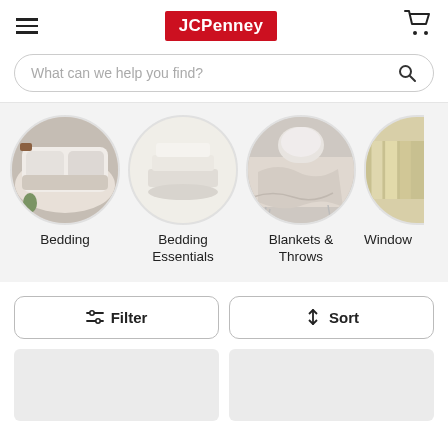JCPenney navigation header with hamburger menu, JCPenney logo, and cart icon
What can we help you find?
[Figure (screenshot): Horizontal scrollable category circles: Bedding, Bedding Essentials, Blankets & Throws, Window (partially visible). Each category has a circular photo above its label.]
Bedding
Bedding Essentials
Blankets & Throws
Window
Filter
Sort